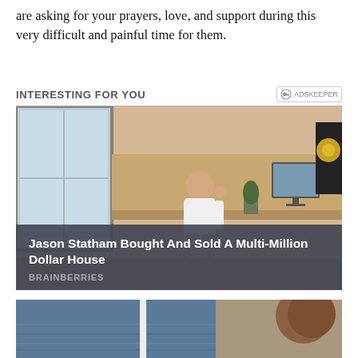are asking for your prayers, love, and support during this very difficult and painful time for them.
INTERESTING FOR YOU
[Figure (photo): Man sitting in a modern home office at a desk with a computer monitor and a speaker, overlaid with caption text: 'Jason Statham Bought And Sold A Multi-Million Dollar House' with source label 'BRAINBERRIES']
[Figure (photo): Partial view of a second photo showing a person on a boat with water in the background, partially cut off at bottom of page]